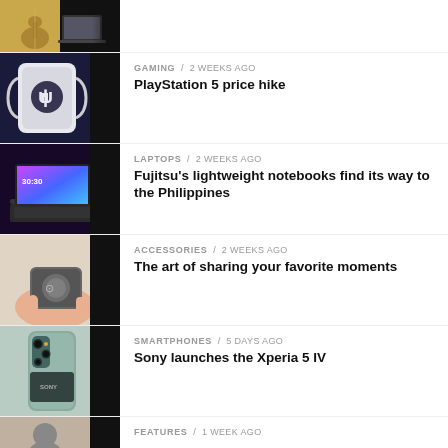[Figure (photo): Partial top article thumbnail showing person with guitar and laptop]
[Figure (photo): PlayStation 5 console white with PlayStation logo]
GAMING / 2 weeks ago
PlayStation 5 price hike
[Figure (photo): Fujitsu lightweight laptop with colorful display]
LAPTOPS / 2 weeks ago
Fujitsu's lightweight notebooks find its way to the Philippines
[Figure (photo): Person holding a small portable device/accessory]
ACCESSORIES / 2 weeks ago
The art of sharing your favorite moments
[Figure (photo): Sony Xperia 5 IV smartphone in mint/sage color]
SMARTPHONES / 5 days ago
Sony launches the Xperia 5 IV
[Figure (photo): Partial bottom article thumbnail showing person]
FEATURES / 1 week ago